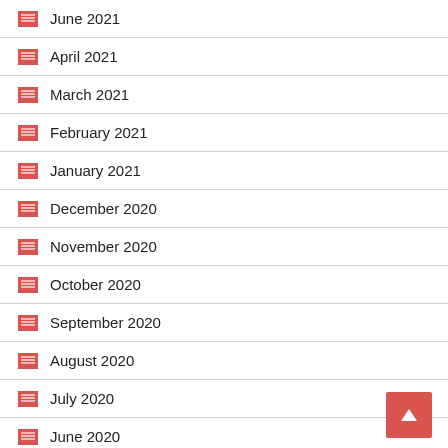June 2021
April 2021
March 2021
February 2021
January 2021
December 2020
November 2020
October 2020
September 2020
August 2020
July 2020
June 2020